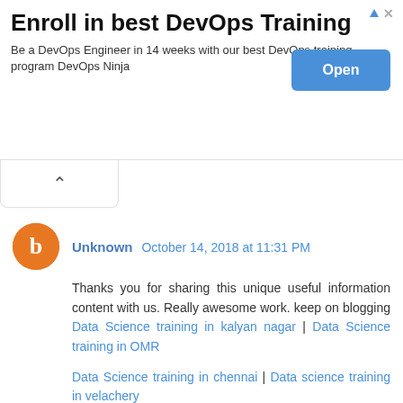[Figure (other): Advertisement banner: 'Enroll in best DevOps Training' with subtitle 'Be a DevOps Engineer in 14 weeks with our best DevOps training program DevOps Ninja' and an 'Open' button]
Unknown October 14, 2018 at 11:31 PM
Thanks you for sharing this unique useful information content with us. Really awesome work. keep on blogging Data Science training in kalyan nagar | Data Science training in OMR

Data Science training in chennai | Data science training in velachery

Data science training in tambaram | Data science training in jaya nagar
Reply